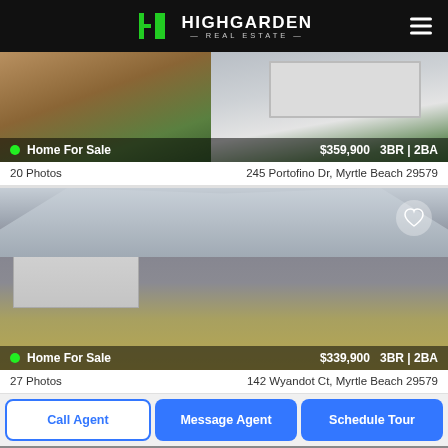HIGHGARDEN REAL ESTATE
[Figure (photo): Exterior photo of a home for sale at 245 Portofino Dr, Myrtle Beach 29579. Brick and siding ranch-style home with white garage door.]
Home For Sale   $359,900   3BR | 2BA
20 Photos   245 Portofino Dr, Myrtle Beach 29579
[Figure (photo): Exterior photo of a home for sale at 142 Wyandot Ct, Myrtle Beach 29579. Gray ranch-style home with white garage door and palm tree in front yard.]
Home For Sale   $339,900   3BR | 2BA
27 Photos   142 Wyandot Ct, Myrtle Beach 29579
Call Agent
Message Agent
Schedule Tour